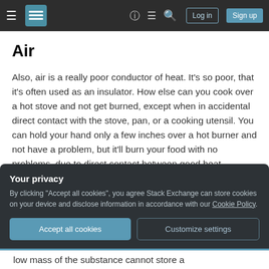Stack Exchange navigation bar with hamburger menu, logo, help, chat, search icons, Log in and Sign up buttons
Air
Also, air is a really poor conductor of heat. It's so poor, that it's often used as an insulator. How else can you cook over a hot stove and not get burned, except when in accidental direct contact with the stove, pan, or a cooking utensil. You can hold your hand only a few inches over a hot burner and not have a problem, but it'll burn your food with no problems, due to direct contact between good heat
Your privacy
By clicking "Accept all cookies", you agree Stack Exchange can store cookies on your device and disclose information in accordance with our Cookie Policy.
Accept all cookies
Customize settings
low mass of the substance cannot store a